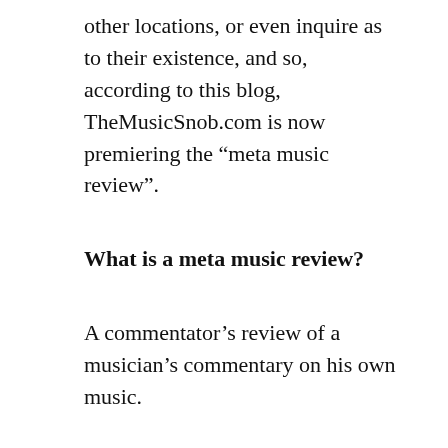other locations, or even inquire as to their existence, and so, according to this blog, TheMusicSnob.com is now premiering the “meta music review”.
What is a meta music review?
A commentator’s review of a musician’s commentary on his own music.
*Note: they can also be a musician’s review of a commentator’s review of his music. But we will be focusing largely on the former for now.
Why are meta music reviews worthwhile?